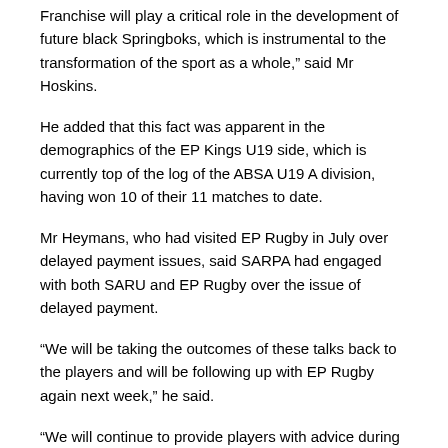Franchise will play a critical role in the development of future black Springboks, which is instrumental to the transformation of the sport as a whole,” said Mr Hoskins.
He added that this fact was apparent in the demographics of the EP Kings U19 side, which is currently top of the log of the ABSA U19 A division, having won 10 of their 11 matches to date.
Mr Heymans, who had visited EP Rugby in July over delayed payment issues, said SARPA had engaged with both SARU and EP Rugby over the issue of delayed payment.
“We will be taking the outcomes of these talks back to the players and will be following up with EP Rugby again next week,” he said.
“We will continue to provide players with advice during this period whilst monitoring the situation at the EP Kings. Our priority at this time is the well-being of the players,” Heymans concluded.
Mr Watson said he appreciated the fact that both SARU and SARPA were